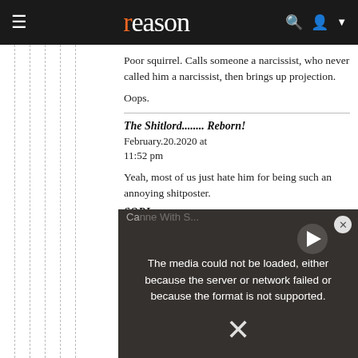reason
Poor squirrel. Calls someone a narcissist, who never called him a narcissist, then brings up projection.
Oops.
The Shitlord........ Reborn!
February.20.2020 at 11:52 pm
Yeah, most of us just hate him for being such an annoying shitposter.
[Figure (screenshot): Video player overlay showing error message: The media could not be loaded, either because the server or network failed or because the format is not supported. A large X is shown below the text. A play button icon is in the upper right area.]
SQRL...
Febr... pm
From...
"Acti... One ... feels and believes that they are better, more important than